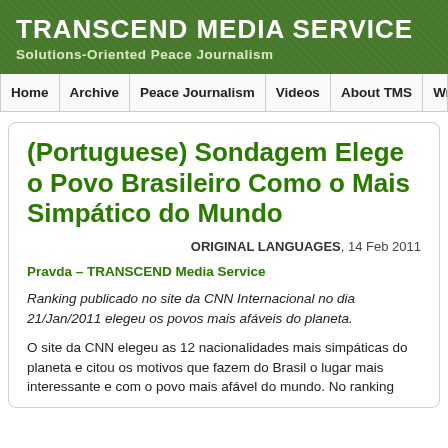TRANSCEND MEDIA SERVICE
Solutions-Oriented Peace Journalism
Home | Archive | Peace Journalism | Videos | About TMS | Write to Antonio (e
(Portuguese) Sondagem Elege o Povo Brasileiro Como o Mais Simpático do Mundo
ORIGINAL LANGUAGES, 14 Feb 2011
Pravda – TRANSCEND Media Service
Ranking publicado no site da CNN Internacional no dia 21/Jan/2011 elegeu os povos mais afáveis do planeta.
O site da CNN elegeu as 12 nacionalidades mais simpáticas do planeta e citou os motivos que fazem do Brasil o lugar mais interessante e com o povo mais afável do mundo. No ranking